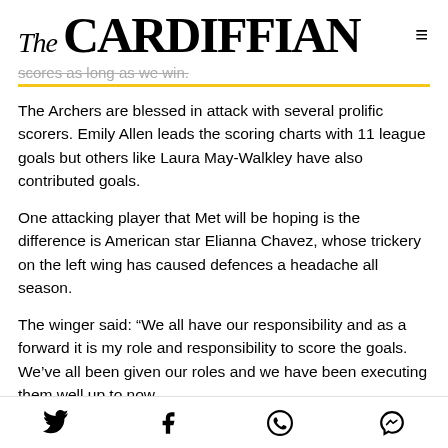The CARDIFFIAN
scores as long as we win.
The Archers are blessed in attack with several prolific scorers. Emily Allen leads the scoring charts with 11 league goals but others like Laura May-Walkley have also contributed goals.
One attacking player that Met will be hoping is the difference is American star Elianna Chavez, whose trickery on the left wing has caused defences a headache all season.
The winger said: “We all have our responsibility and as a forward it is my role and responsibility to score the goals. We’ve all been given our roles and we have been executing them well up to now.
Social share icons: Twitter, Facebook, WhatsApp, Messenger